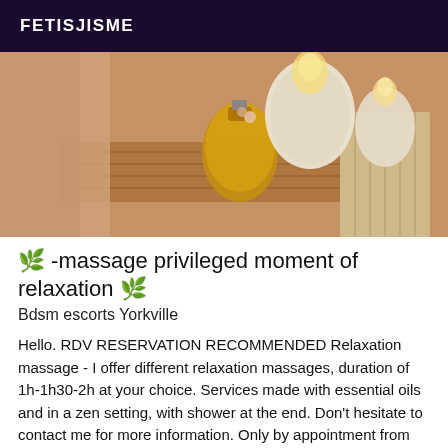FETISJISME
[Figure (photo): Spa/massage setting with glowing candles, a bottle of golden essential oil, and a bamboo tray on a light background]
🌿 -massage privileged moment of relaxation 🌿
Bdsm escorts Yorkville
Hello. RDV RESERVATION RECOMMENDED Relaxation massage - I offer different relaxation massages, duration of 1h-1h30-2h at your choice. Services made with essential oils and in a zen setting, with shower at the end. Don't hesitate to contact me for more information. Only by appointment from Monday to Saturday from 13h to 21h. I don't answer private